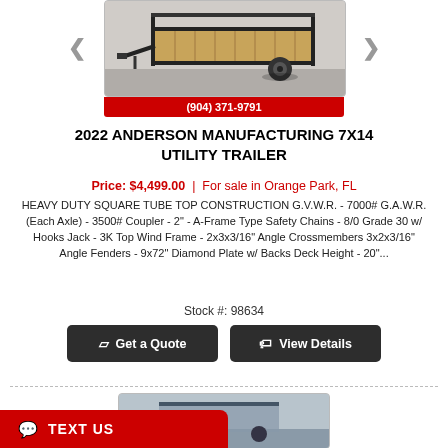[Figure (photo): Photo of a 2022 Anderson Manufacturing 7x14 utility trailer with black steel frame and wooden deck, shown outdoors on pavement. Red bar at bottom shows phone number (904) 371-9791.]
2022 ANDERSON MANUFACTURING 7X14 UTILITY TRAILER
Price: $4,499.00 | For sale in Orange Park, FL
HEAVY DUTY SQUARE TUBE TOP CONSTRUCTION G.V.W.R. - 7000# G.A.W.R. (Each Axle) - 3500# Coupler - 2" - A-Frame Type Safety Chains - 8/0 Grade 30 w/ Hooks Jack - 3K Top Wind Frame - 2x3x3/16" Angle Crossmembers 3x2x3/16" Angle Fenders - 9x72" Diamond Plate w/ Backs Deck Height - 20"...
Stock #: 98634
Get a Quote
View Details
[Figure (photo): Partial preview of another trailer listing photo at the bottom of the page.]
TEXT US